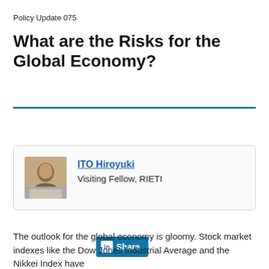Policy Update 075
What are the Risks for the Global Economy?
[Figure (other): LinkedIn Share button]
[Figure (photo): Author photo of ITO Hiroyuki in a bordered card with name and title]
ITO Hiroyuki
Visiting Fellow, RIETI
The outlook for the global economy is gloomy. Stock market indexes like the Dow Jones Industrial Average and the Nikkei Index have